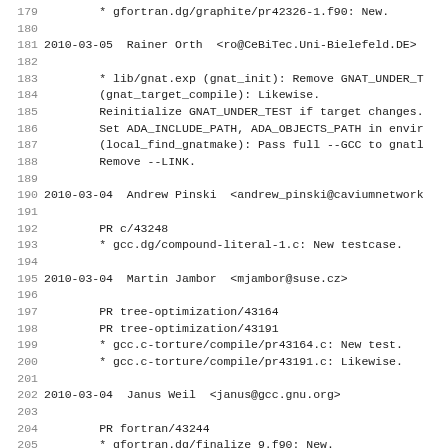179         * gfortran.dg/graphite/pr42326-1.f90: New.
180
181 2010-03-05  Rainer Orth  <ro@CeBiTec.Uni-Bielefeld.DE>
182
183         * lib/gnat.exp (gnat_init): Remove GNAT_UNDER_T
184         (gnat_target_compile): Likewise.
185         Reinitialize GNAT_UNDER_TEST if target changes.
186         Set ADA_INCLUDE_PATH, ADA_OBJECTS_PATH in envir
187         (local_find_gnatmake): Pass full --GCC to gnatl
188         Remove --LINK.
189
190 2010-03-04  Andrew Pinski  <andrew_pinski@caviumnetwork
191
192         PR c/43248
193         * gcc.dg/compound-literal-1.c: New testcase.
194
195 2010-03-04  Martin Jambor  <mjambor@suse.cz>
196
197         PR tree-optimization/43164
198         PR tree-optimization/43191
199         * gcc.c-torture/compile/pr43164.c: New test.
200         * gcc.c-torture/compile/pr43191.c: Likewise.
201
202 2010-03-04  Janus Weil  <janus@gcc.gnu.org>
203
204         PR fortran/43244
205         * gfortran.dg/finalize_9.f90: New.
206
207 2010-03-04  Tobias Burnus  <burnus@net-b.de>
208         Ken Werner <ken@linux.vnet.ibm.com>
209
210         * gfortran.dg/reassoc_4.f: Add --param max-comp